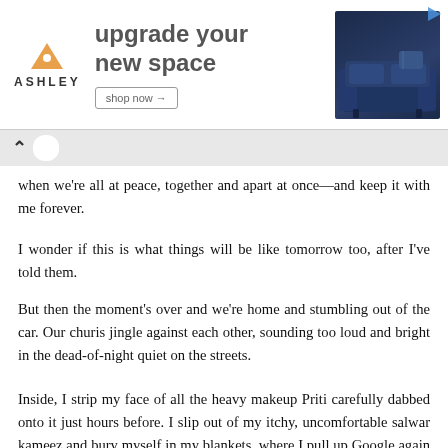[Figure (screenshot): Ashley Furniture advertisement banner: orange triangle house logo with ASHLEY text, bold headline 'upgrade your new space', 'shop now →' button, and photo of a dark blue sofa with pillows on the right side.]
when we're all at peace, together and apart at once—and keep it with me forever.
I wonder if this is what things will be like tomorrow too, after I've told them.
But then the moment's over and we're home and stumbling out of the car. Our churis jingle against each other, sounding too loud and bright in the dead-of-night quiet on the streets.
Inside, I strip my face of all the heavy makeup Priti carefully dabbed onto it just hours before. I slip out of my itchy, uncomfortable salwar kameez and bury myself in my blankets, where I pull up Google again and translate the word lesbian into Bengali.